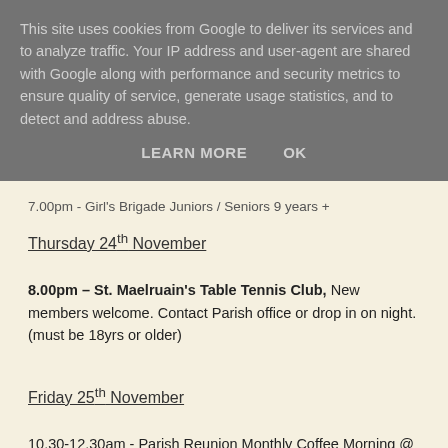This site uses cookies from Google to deliver its services and to analyze traffic. Your IP address and user-agent are shared with Google along with performance and security metrics to ensure quality of service, generate usage statistics, and to detect and address abuse.
LEARN MORE    OK
7.00pm - Girl's Brigade Juniors / Seniors 9 years +
Thursday 24th November
8.00pm – St. Maelruain's Table Tennis Club, New members welcome. Contact Parish office or drop in on night. (must be 18yrs or older)
Friday 25th November
10.30-12.30am - Parish Reunion Monthly Coffee Morning @ small hall St. Maelruains Parish Centre. All Wellcome to drop in